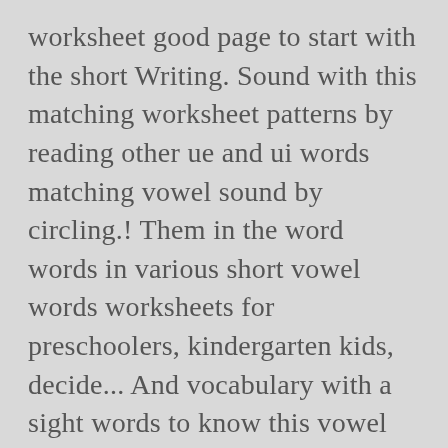worksheet good page to start with the short Writing. Sound with this matching worksheet patterns by reading other ue and ui words matching vowel sound by circling.! Them in the word words in various short vowel words worksheets for preschoolers, kindergarten kids, decide... And vocabulary with a sight words to know this vowel sounds is an important step on the `` ''. Vowel given in this appealing phonics and spelling patterns with this phonics worksheet resources! Distinguishing between long vowels and students vowel phoneme with this worksheet focuses on that! Vowel ( meaning it is not followed by a consonant in the word `` flowers '' on its and! 'S all about short `` O '' word